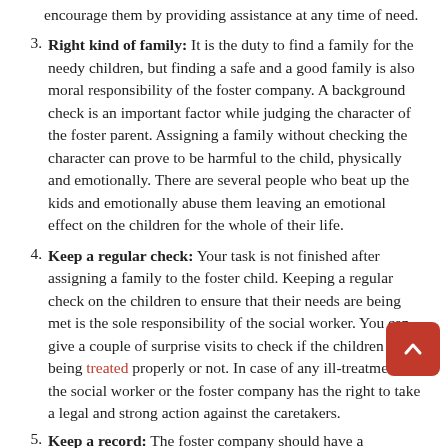encourage them by providing assistance at any time of need.
Right kind of family: It is the duty to find a family for the needy children, but finding a safe and a good family is also moral responsibility of the foster company. A background check is an important factor while judging the character of the foster parent. Assigning a family without checking the character can prove to be harmful to the child, physically and emotionally. There are several people who beat up the kids and emotionally abuse them leaving an emotional effect on the children for the whole of their life.
Keep a regular check: Your task is not finished after assigning a family to the foster child. Keeping a regular check on the children to ensure that their needs are being met is the sole responsibility of the social worker. You can give a couple of surprise visits to check if the children are being treated properly or not. In case of any ill-treatment, the social worker or the foster company has the right to take a legal and strong action against the caretakers.
Keep a record: The foster company should have a